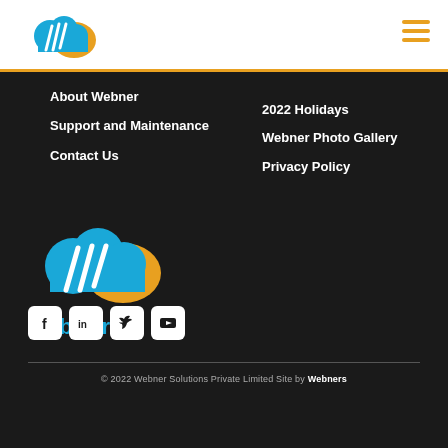[Figure (logo): Webner logo - blue cloud with orange accent and white diagonal lines, header version]
[Figure (other): Hamburger menu icon - three orange horizontal lines]
About Webner
Support and Maintenance
Contact Us
2022 Holidays
Webner Photo Gallery
Privacy Policy
[Figure (logo): Webner footer logo - blue cloud with orange accent and text 'webner' in teal/blue]
[Figure (other): Social media icons row: Facebook, LinkedIn, Twitter, YouTube - white icons on white square rounded backgrounds]
© 2022 Webner Solutions Private Limited Site by Webners